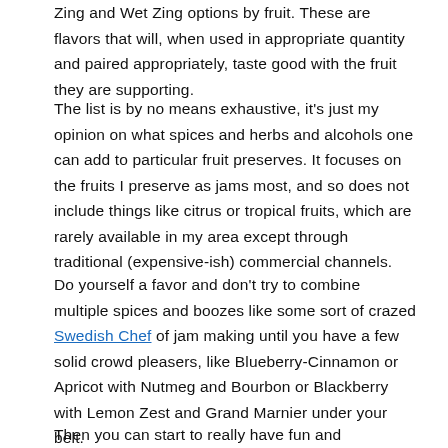Zing and Wet Zing options by fruit. These are flavors that will, when used in appropriate quantity and paired appropriately, taste good with the fruit they are supporting.
The list is by no means exhaustive, it's just my opinion on what spices and herbs and alcohols one can add to particular fruit preserves. It focuses on the fruits I preserve as jams most, and so does not include things like citrus or tropical fruits, which are rarely available in my area except through traditional (expensive-ish) commercial channels.
Do yourself a favor and don't try to combine multiple spices and boozes like some sort of crazed Swedish Chef of jam making until you have a few solid crowd pleasers, like Blueberry-Cinnamon or Apricot with Nutmeg and Bourbon or Blackberry with Lemon Zest and Grand Marnier under your belt.
Then you can start to really have fun and experiment with some